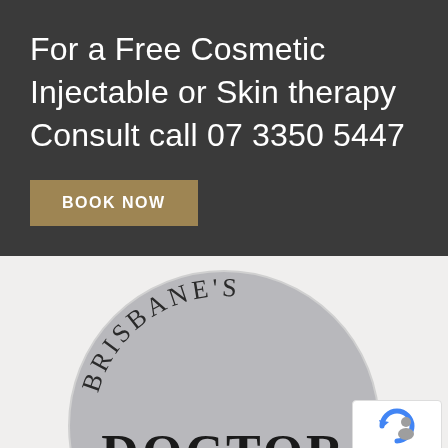For a Free Cosmetic Injectable or Skin therapy Consult call 07 3350 5447
BOOK NOW
[Figure (logo): Brisbane's Doctor circular logo on a light grey background, partially visible. Shows a grey circle with text 'BRISBANE'S' curved along the top and 'DOCTOR' in large letters at the bottom.]
Privacy · Terms